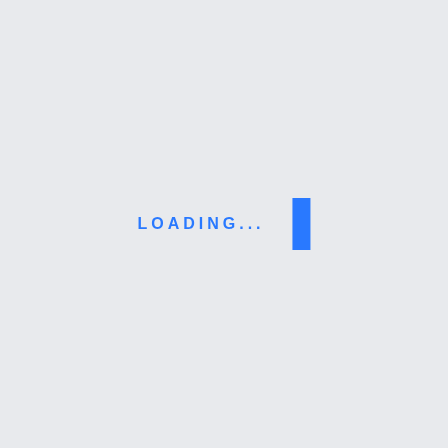[Figure (other): A loading screen with the text 'LOADING...' in blue spaced letters and a blue rectangular cursor/bar to the right, centered on a light gray background.]